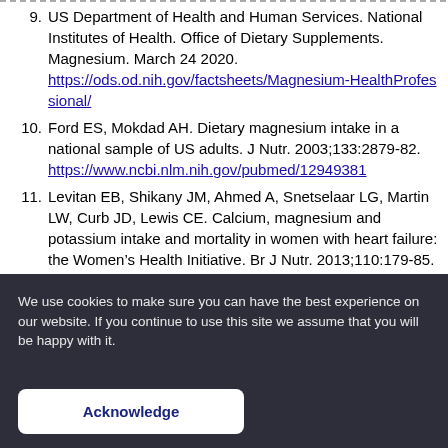9. US Department of Health and Human Services. National Institutes of Health. Office of Dietary Supplements. Magnesium. March 24 2020. https://ods.od.nih.gov/factsheets/Magnesium-HealthProfessional/
10. Ford ES, Mokdad AH. Dietary magnesium intake in a national sample of US adults. J Nutr. 2003;133:2879-82. https://www.ncbi.nlm.nih.gov/pubmed/12949381
11. Levitan EB, Shikany JM, Ahmed A, Snetselaar LG, Martin LW, Curb JD, Lewis CE. Calcium, magnesium and potassium intake and mortality in women with heart failure: the Women’s Health Initiative. Br J Nutr. 2013;110:179-85. https://www.ncbi.nlm.nih.gov/pubmed/23199414
12. Helte E, Åkesson A, Larsson SC. Assessing causality in associations of serum calcium and magnesium levels with heart failure: a two-sample Mendelian randomization study. Front Genet. 2019 Oct 23;10:1069.
We use cookies to make sure you can have the best experience on our website. If you continue to use this site we assume that you will be happy with it.
Acknowledge